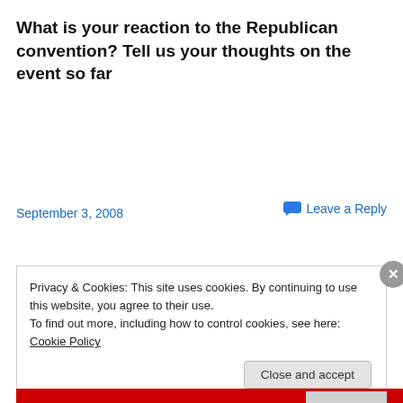What is your reaction to the Republican convention? Tell us your thoughts on the event so far
September 3, 2008
Leave a Reply
Privacy & Cookies: This site uses cookies. By continuing to use this website, you agree to their use.
To find out more, including how to control cookies, see here: Cookie Policy
Close and accept